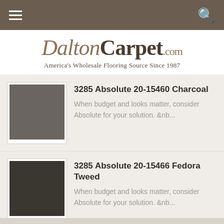DaltonCarpet.com — Navigation bar with hamburger menu and search icon
DaltonCarpet.com — America's Wholesale Flooring Source Since 1987
3285 Absolute 20-15460 Charcoal
When budget and looks matter, consider Absolute for your solution. &nb...
[Figure (photo): Charcoal gray carpet texture swatch]
3285 Absolute 20-15466 Fedora Tweed
When budget and looks matter, consider Absolute for your solution. &nb...
[Figure (photo): Dark brownish-black Fedora Tweed carpet texture swatch]